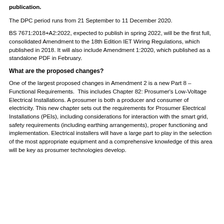publication.
The DPC period runs from 21 September to 11 December 2020.
BS 7671:2018+A2:2022, expected to publish in spring 2022, will be the first full, consolidated Amendment to the 18th Edition IET Wiring Regulations, which published in 2018. It will also include Amendment 1:2020, which published as a standalone PDF in February.
What are the proposed changes?
One of the largest proposed changes in Amendment 2 is a new Part 8 – Functional Requirements.  This includes Chapter 82: Prosumer's Low-Voltage Electrical Installations. A prosumer is both a producer and consumer of electricity. This new chapter sets out the requirements for Prosumer Electrical Installations (PEIs), including considerations for interaction with the smart grid, safety requirements (including earthing arrangements), proper functioning and implementation. Electrical installers will have a large part to play in the selection of the most appropriate equipment and a comprehensive knowledge of this area will be key as prosumer technologies develop.